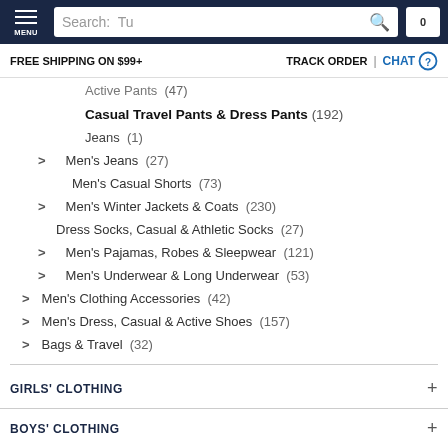[Figure (screenshot): Navigation bar with menu icon, search box showing 'Search: Tu', search icon, and cart icon showing 0]
FREE SHIPPING ON $99+    TRACK ORDER  |  CHAT
Active Pants (47)
Casual Travel Pants & Dress Pants (192)
Jeans (1)
Men's Jeans (27)
Men's Casual Shorts (73)
Men's Winter Jackets & Coats (230)
Dress Socks, Casual & Athletic Socks (27)
Men's Pajamas, Robes & Sleepwear (121)
Men's Underwear & Long Underwear (53)
Men's Clothing Accessories (42)
Men's Dress, Casual & Active Shoes (157)
Bags & Travel (32)
GIRLS' CLOTHING
BOYS' CLOTHING